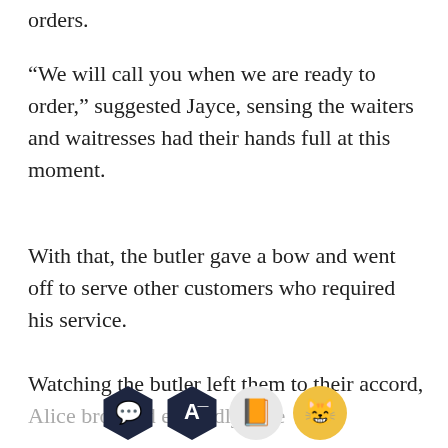orders.
“We will call you when we are ready to order,” suggested Jayce, sensing the waiters and waitresses had their hands full at this moment.
With that, the butler gave a bow and went off to serve other customers who required his service.
Watching the butler left them to their accord, Alice browsed... excitedly. The